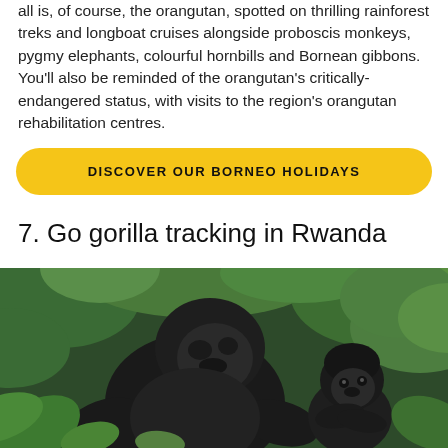all is, of course, the orangutan, spotted on thrilling rainforest treks and longboat cruises alongside proboscis monkeys, pygmy elephants, colourful hornbills and Bornean gibbons. You'll also be reminded of the orangutan's critically-endangered status, with visits to the region's orangutan rehabilitation centres.
DISCOVER OUR BORNEO HOLIDAYS
7. Go gorilla tracking in Rwanda
[Figure (photo): Two gorillas (an adult and a baby) sitting among green jungle vegetation in Rwanda]
ENQUIRE